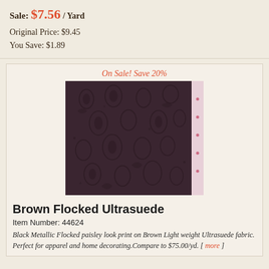Sale: $7.56 / Yard
Original Price: $9.45
You Save: $1.89
On Sale! Save 20%
[Figure (photo): Brown flocked ultrasuede fabric with black metallic paisley print pattern, shown as a fabric swatch with selvage edge on the right side.]
Brown Flocked Ultrasuede
Item Number: 44624
Black Metallic Flocked paisley look print on Brown Light weight Ultrasuede fabric. Perfect for apparel and home decorating.Compare to $75.00/yd. [ more ]